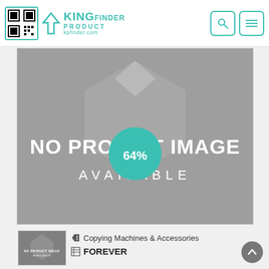[Figure (logo): King Product Finder logo with QR code and teal branding, kpfinder.com]
[Figure (photo): Gray placeholder image with NO PRODUCT IMAGE AVAILABLE text, overlaid with a teal circular badge showing '64%']
[Figure (photo): Small thumbnail of the same gray no-product-image placeholder]
Copying Machines & Accessories
FOREVER